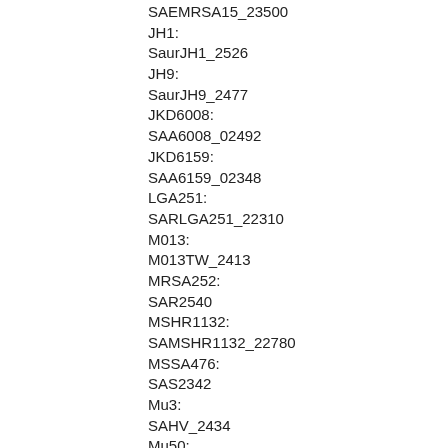SAEMRSA15_23500
JH1:
SaurJH1_2526
JH9:
SaurJH9_2477
JKD6008:
SAA6008_02492
JKD6159:
SAA6159_02348
LGA251:
SARLGA251_22310
M013:
M013TW_2413
MRSA252:
SAR2540
MSHR1132:
SAMSHR1132_22780
MSSA476:
SAS2342
Mu3:
SAHV_2434
Mu50:
SAV2450
MW2: